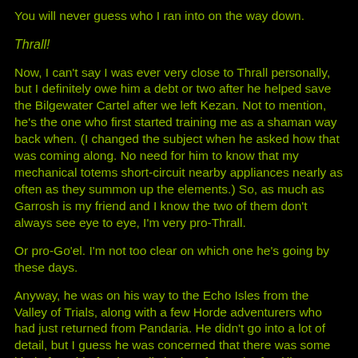You will never guess who I ran into on the way down.
Thrall!
Now, I can't say I was ever very close to Thrall personally, but I definitely owe him a debt or two after he helped save the Bilgewater Cartel after we left Kezan. Not to mention, he's the one who first started training me as a shaman way back when. (I changed the subject when he asked how that was coming along. No need for him to know that my mechanical totems short-circuit nearby appliances nearly as often as they summon up the elements.) So, as much as Garrosh is my friend and I know the two of them don't always see eye to eye, I'm very pro-Thrall.
Or pro-Go'el. I'm not too clear on which one he's going by these days.
Anyway, he was on his way to the Echo Isles from the Valley of Trials, along with a few Horde adventurers who had just returned from Pandaria. He didn't go into a lot of detail, but I guess he was concerned that there was some kind of trouble for the trolls in the aftermath of Vol'jin's death. He invited me to come with them, and since I was already concerned about my troll friends down there...